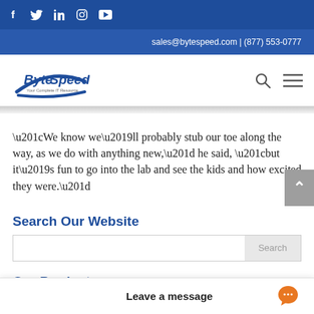Social icons: f  Twitter  in  Instagram  YouTube
sales@bytespeed.com | (877) 553-0777
[Figure (logo): ByteSpeed logo with tagline 'Your Complete IT Resource']
“We know we’ll probably stub our toe along the way, as we do with anything new,” he said, “but it’s fun to go into the lab and see the kids and how excited they were.”
Search Our Website
Our Products
Leave a message